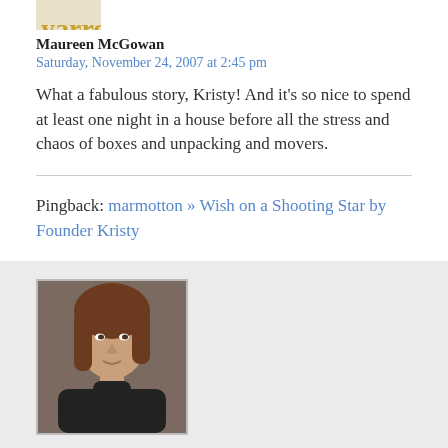[Figure (photo): Small avatar image at top (partially visible), appears to be a logo or icon]
Maureen McGowan
Saturday, November 24, 2007 at 2:45 pm
What a fabulous story, Kristy! And it's so nice to spend at least one night in a house before all the stress and chaos of boxes and unpacking and movers.
Pingback: marmotton » Wish on a Shooting Star by Founder Kristy
[Figure (photo): Portrait photo of a woman with brown hair wearing a black turtleneck]
Kristy
Saturday, November 24, 2007 at 5:10 pm
Amy, ah, yes, cannot forget about the troll, who sits